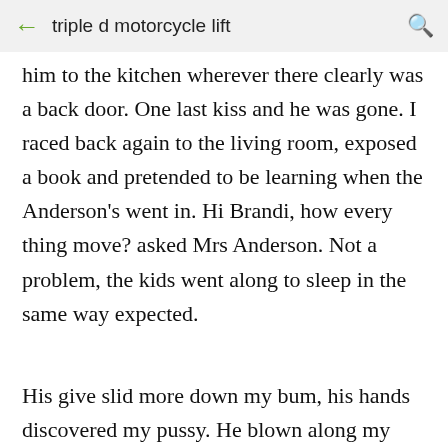triple d motorcycle lift
him to the kitchen wherever there clearly was a back door. One last kiss and he was gone. I raced back again to the living room, exposed a book and pretended to be learning when the Anderson's went in. Hi Brandi, how every thing move? asked Mrs Anderson. Not a problem, the kids went along to sleep in the same way expected.
His give slid more down my bum, his hands discovered my pussy. He blown along my pussy several times, then forced a finger in me. I